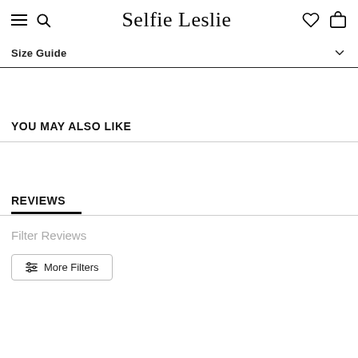Selfie Leslie
Size Guide
YOU MAY ALSO LIKE
REVIEWS
Filter Reviews
More Filters